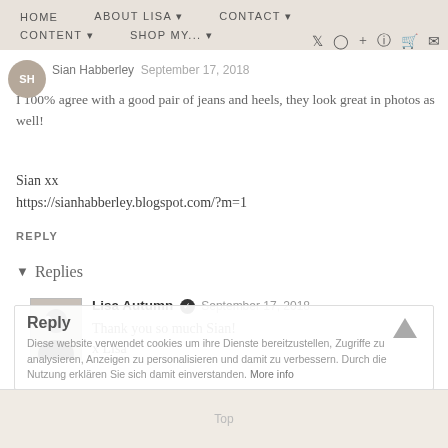HOME   ABOUT LISA   CONTACT   CONTENT   SHOP MY...
Sian Habberley  September 17, 2018
I 100% agree with a good pair of jeans and heels, they look great in photos as well!
Sian xx
https://sianhabberley.blogspot.com/?m=1
REPLY
Replies
Lisa Autumn  September 17, 2018
Thank you so much Sian!
x Lisa
Reply
Diese website verwendet cookies um ihre Dienste bereitzustellen, Zugriffe zu analysieren, Anzeigen zu personalisieren und damit zu verbessern. Durch die Nutzung erklären Sie sich damit einverstanden. More info